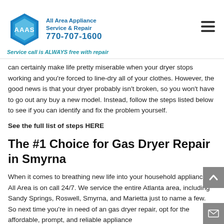All Area Appliance Service & Repair 770-707-1600 Service call is ALWAYS free with repair
can certainly make life pretty miserable when your dryer stops working and you're forced to line-dry all of your clothes. However, the good news is that your dryer probably isn't broken, so you won't have to go out any buy a new model. Instead, follow the steps listed below to see if you can identify and fix the problem yourself.
See the full list of steps HERE
The #1 Choice for Gas Dryer Repair in Smyrna
When it comes to breathing new life into your household appliances, All Area is on call 24/7. We service the entire Atlanta area, including Sandy Springs, Roswell, Smyrna, and Marietta just to name a few.  So next time you're in need of an gas dryer repair, opt for the affordable, prompt, and reliable appliance